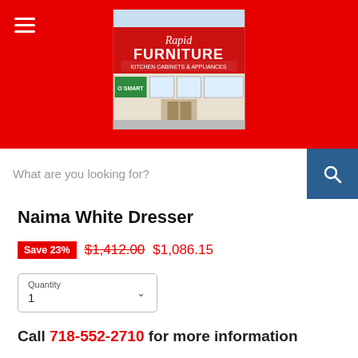[Figure (screenshot): Rapid Furniture store front photo used as website logo/header image]
What are you looking for?
Naima White Dresser
Save 23%  $1,412.00  $1,086.15
Quantity
1
Call 718-552-2710 for more information